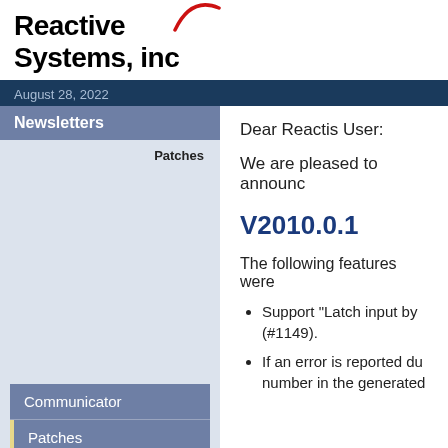[Figure (logo): Reactive Systems, inc logo with red arc above text]
August 28, 2022
Newsletters
Patches
Communicator
Patches
Dear Reactis User:
We are pleased to announc
V2010.0.1
The following features were
Support "Latch input by (#1149).
If an error is reported du number in the generated